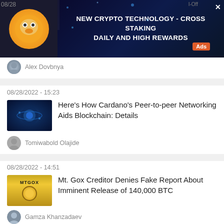[Figure (screenshot): Advertisement banner: NEW CRYPTO TECHNOLOGY - CROSS STAKING DAILY AND HIGH REWARDS with Ads badge and thumbnail of Shiba Inu crypto coin]
Alex Dovbnya
08/28/2022 - 15:23
Here's How Cardano's Peer-to-peer Networking Aids Blockchain: Details
Tomiwabold Olajide
08/28/2022 - 14:51
Mt. Gox Creditor Denies Fake Report About Imminent Release of 140,000 BTC
Gamza Khanzadaev